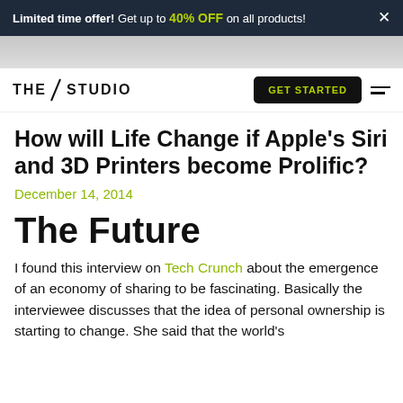Limited time offer! Get up to 40% OFF on all products! ×
[Figure (photo): Grayscale hero image banner]
THE STUDIO | GET STARTED
How will Life Change if Apple's Siri and 3D Printers become Prolific?
December 14, 2014
The Future
I found this interview on Tech Crunch about the emergence of an economy of sharing to be fascinating. Basically the interviewee discusses that the idea of personal ownership is starting to change. She said that the world's